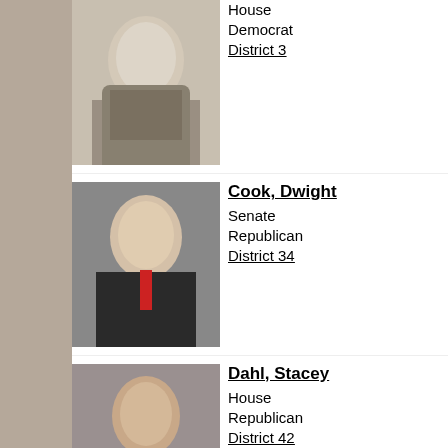[Figure (photo): Partial photo of female legislator at top of page]
House
Democrat
District 3
[Figure (photo): Photo of Cook, Dwight - male legislator in suit with red tie]
Cook, Dwight
Senate
Republican
District 34
[Figure (photo): Photo of Dahl, Stacey - female legislator in red jacket]
Dahl, Stacey
House
Republican
District 42
[Figure (photo): Photo of Damschen, Chuck - male legislator in suit]
Damschen, Chuck
House
Republican
District 10
[Figure (photo): Partial photo of DeKrey, Duane at bottom of page]
DeKrey, Duane
House